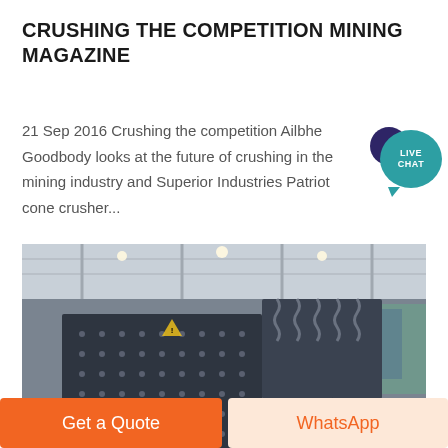CRUSHING THE COMPETITION MINING MAGAZINE
21 Sep 2016 Crushing the competition Ailbhe Goodbody looks at the future of crushing in the mining industry and Superior Industries Patriot cone crusher...
[Figure (photo): Photo of a large industrial mining crusher machine (jaw crusher or impact crusher) displayed at an exhibition hall, showing heavy dark metal body with bolted plates, large orange/red flywheel, springs, and conveyor components. Exhibition banners visible in background.]
Get a Quote
WhatsApp